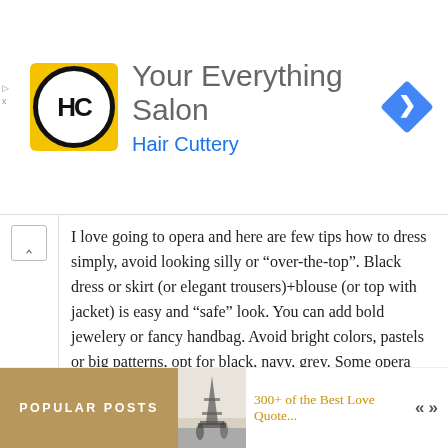[Figure (logo): Hair Cuttery advertisement banner with yellow square logo containing HC initials in circle, heading 'Your Everything Salon', subheading 'Hair Cuttery' in blue, and blue diamond navigation icon on right]
I love going to opera and here are few tips how to dress simply, avoid looking silly or “over-the-top”. Black dress or skirt (or elegant trousers)+blouse (or top with jacket) is easy and “safe” look. You can add bold jewelery or fancy handbag. Avoid bright colors, pastels or big patterns, opt for black, navy, grey. Some opera houses requres only-black attaire, so alway check local customs. When in doubt, choose simple yet elegant office-like dress or skirt in black. Also it’s good idea to avoid hats, especaily elaborate with feathers etc, it can be distracting and you have to take it off during the show (your fancy hat can block the view). Remember that stars at the opera
POPULAR POSTS
300+ of the Best Love Quote...